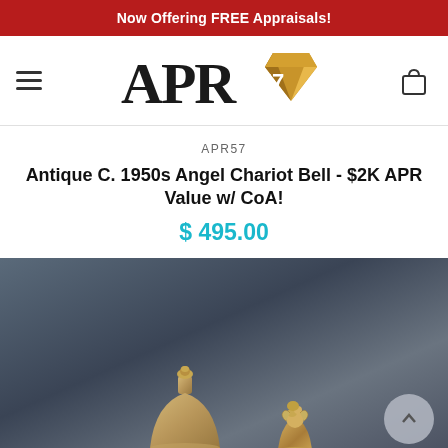Now Offering FREE Appraisals!
[Figure (logo): APR57 logo with diamond shape containing '57', serif font for APR text]
APR57
Antique C. 1950s Angel Chariot Bell - $2K APR Value w/ CoA!
$ 495.00
[Figure (photo): Two antique brass bells on dark blue-gray fabric background. Left bell is a traditional dome-shaped desk bell with a round top knob. Right bell is a smaller figural bell with decorative top.]